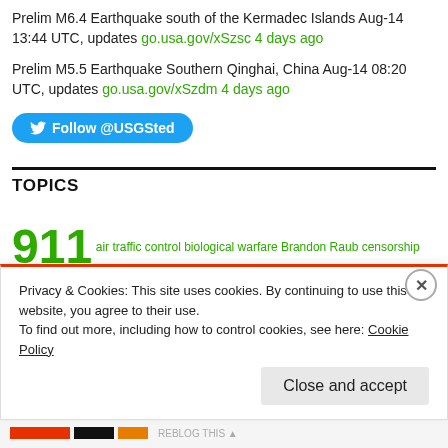Prelim M6.4 Earthquake south of the Kermadec Islands Aug-14 13:44 UTC, updates go.usa.gov/xSzsc 4 days ago
Prelim M5.5 Earthquake Southern Qinghai, China Aug-14 08:20 UTC, updates go.usa.gov/xSzdm 4 days ago
[Figure (other): Twitter Follow @USGSted button in blue rounded rectangle]
TOPICS
911 air traffic control biological warfare Brandon Raub censorship civil liberties Climate Change Cloud Seeding computer viruses domestic terrorism earthquakes earth quakes Ebola economic collapse energy
Privacy & Cookies: This site uses cookies. By continuing to use this website, you agree to their use. To find out more, including how to control cookies, see here: Cookie Policy
Close and accept